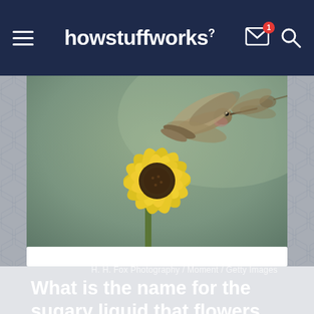howstuffworks
[Figure (photo): A hummingbird hovering above a yellow flower (zinnia or similar), photographed against a blurred green background. The bird is mid-flight with wings spread.]
H. H. Fox Photography / Moment / Getty Images
What is the name for the sugary liquid that flowers produce, and insects and some birds eat?